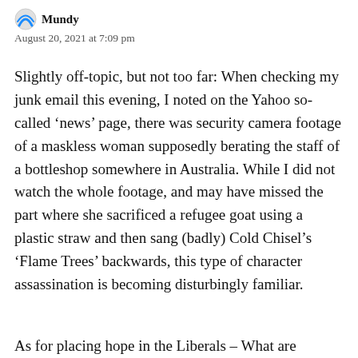August 20, 2021 at 7:09 pm
Slightly off-topic, but not too far: When checking my junk email this evening, I noted on the Yahoo so-called ‘news’ page, there was security camera footage of a maskless woman supposedly berating the staff of a bottleshop somewhere in Australia. While I did not watch the whole footage, and may have missed the part where she sacrificed a refugee goat using a plastic straw and then sang (badly) Cold Chisel’s ‘Flame Trees’ backwards, this type of character assassination is becoming disturbingly familiar.
As for placing hope in the Liberals – What are